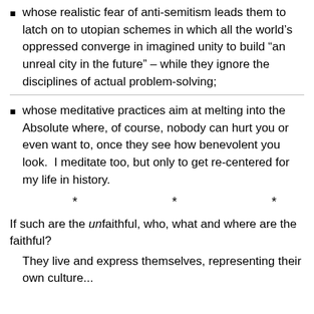whose realistic fear of anti-semitism leads them to latch on to utopian schemes in which all the world’s oppressed converge in imagined unity to build “an unreal city in the future” – while they ignore the disciplines of actual problem-solving;
whose meditative practices aim at melting into the Absolute where, of course, nobody can hurt you or even want to, once they see how benevolent you look. I meditate too, but only to get re-centered for my life in history.
* * *
If such are the unfaithful, who, what and where are the faithful?
They live and express themselves, representing their own culture...